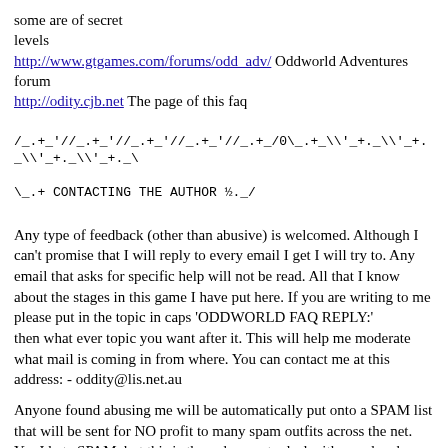some are of secret levels
http://www.gtgames.com/forums/odd_adv/ Oddworld Adventures forum
http://odity.cjb.net The page of this faq
/_.+_'//_.+_'//_.+_'//_.+_'//_.+_/0\_.+_\\'_+._\\'_+._\\'_+._\\'_+._\\.+  CONTACTING THE AUTHOR ½._/
Any type of feedback (other than abusive) is welcomed. Although I can't promise that I will reply to every email I get I will try to. Any email that asks for specific help will not be read. All that I know about the stages in this game I have put here. If you are writing to me please put in the topic in caps 'ODDWORLD FAQ REPLY:'
then what ever topic you want after it. This will help me moderate what mail is coming in from where. You can contact me at this address: - oddity@lis.net.au
Anyone found abusing me will be automatically put onto a SPAM list that will be sent for NO profit to many spam outfits across the net. Yes I hate SPAM, but this is the only way to deal with people who just email me to abuse me. Thank you for reading this FAQ.
/_.+_'//_.+_'//_.+_'//_.+_/0\_.+_\\'_+._\\'_+._\\'_+._\\'_+._\